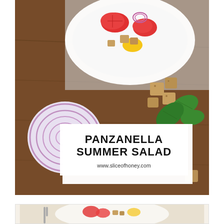[Figure (photo): Overhead view of panzanella salad in a white bowl with tomatoes, onions, bread cubes, and basil leaves. A sliced red onion and bread cubes with basil leaves are visible beside the bowl on a dark wooden surface.]
PANZANELLA SUMMER SALAD
www.sliceofhoney.com
[Figure (photo): Partial view of a plate with panzanella salad ingredients including tomatoes and bread.]